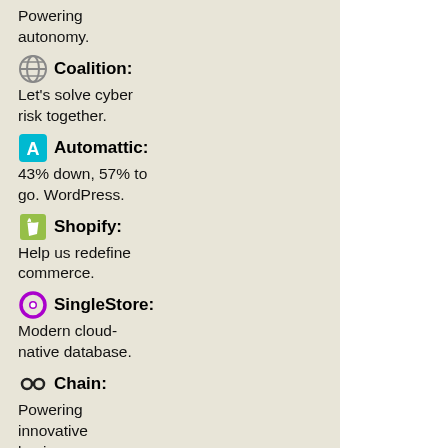Powering autonomy.
Coalition: Let's solve cyber risk together.
Automattic: 43% down, 57% to go. WordPress.
Shopify: Help us redefine commerce.
SingleStore: Modern cloud-native database.
Chain: Powering innovative businesses.
AtoB: Rebuild global transportation payments.
Nomad